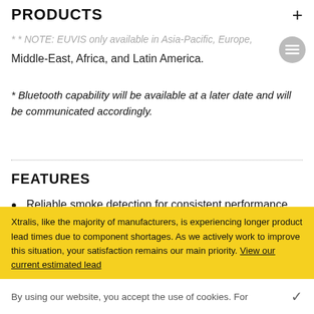PRODUCTS
* * NOTE: EUVIS only available in Asia-Pacific, Europe, Middle-East, Africa, and Latin America.
* Bluetooth capability will be available at a later date and will be communicated accordingly.
FEATURES
Reliable smoke detection for consistent performance and minimum nuisance alarms
Single & Dual channel variants with area coverage
Xtralis, like the majority of manufacturers, is experiencing longer product lead times due to component shortages. As we actively work to improve this situation, your satisfaction remains our main priority. View our current estimated lead
By using our website, you accept the use of cookies. For